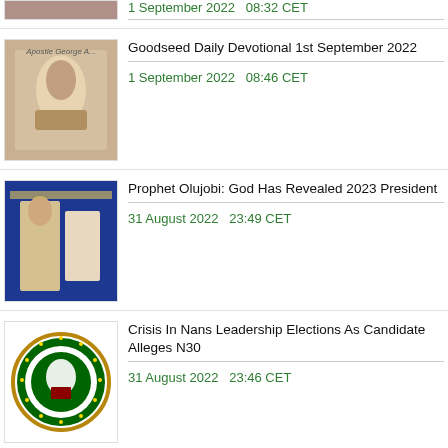1 September 2022  08:32 CET
Goodseed Daily Devotional 1st September 2022
1 September 2022  08:46 CET
Prophet Olujobi: God Has Revealed 2023 President
31 August 2022  23:49 CET
Crisis In Nans Leadership Elections As Candidate Alleges N30
31 August 2022  23:46 CET
Tragedy As Nema Recovered 15 Dead Bodies From Maiduguri Rive
31 August 2022  21:20 CET